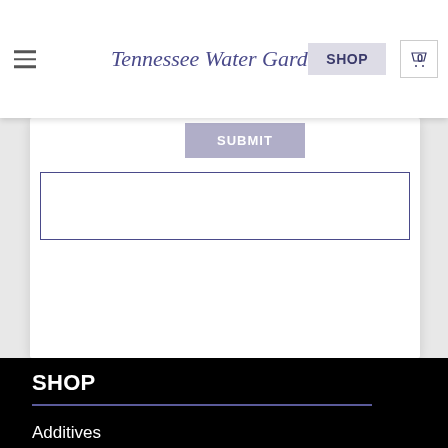Tennessee Water Gardens — SHOP — 0
[Figure (screenshot): Partial view of a web form with a SUBMIT button and a bordered input area inside a white card]
SHOP
Additives
Aeration
Filter & Reactor Media
Filtration